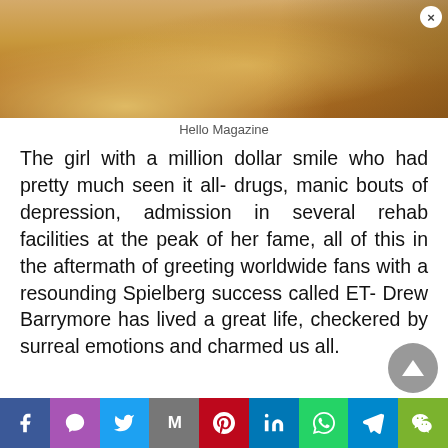[Figure (photo): Cropped photo of a woman with blonde hair, partially visible from forehead to chin, with a close-up composition]
Hello Magazine
The girl with a million dollar smile who had pretty much seen it all- drugs, manic bouts of depression, admission in several rehab facilities at the peak of her fame, all of this in the aftermath of greeting worldwide fans with a resounding Spielberg success called ET- Drew Barrymore has lived a great life, checkered by surreal emotions and charmed us all.